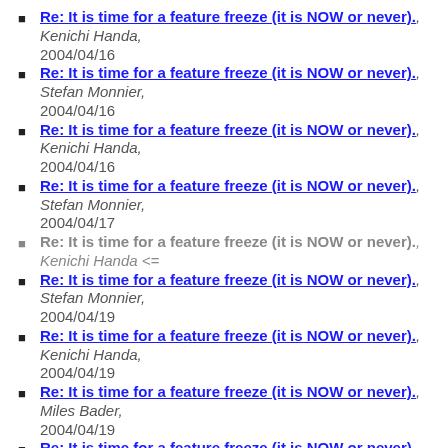Re: It is time for a feature freeze (it is NOW or never)., Kenichi Handa, 2004/04/16
Re: It is time for a feature freeze (it is NOW or never)., Stefan Monnier, 2004/04/16
Re: It is time for a feature freeze (it is NOW or never)., Kenichi Handa, 2004/04/16
Re: It is time for a feature freeze (it is NOW or never)., Stefan Monnier, 2004/04/17
Re: It is time for a feature freeze (it is NOW or never)., Kenichi Handa <=
Re: It is time for a feature freeze (it is NOW or never)., Stefan Monnier, 2004/04/19
Re: It is time for a feature freeze (it is NOW or never)., Kenichi Handa, 2004/04/19
Re: It is time for a feature freeze (it is NOW or never)., Miles Bader, 2004/04/19
Re: It is time for a feature freeze (it is NOW or never)., Kenichi Handa